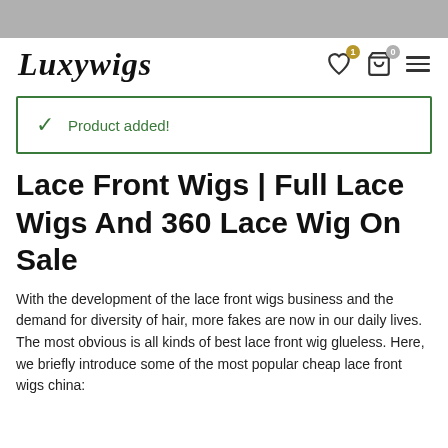Luxywigs
Product added!
Lace Front Wigs | Full Lace Wigs And 360 Lace Wig On Sale
With the development of the lace front wigs business and the demand for diversity of hair, more fakes are now in our daily lives. The most obvious is all kinds of best lace front wig glueless. Here, we briefly introduce some of the most popular cheap lace front wigs china: